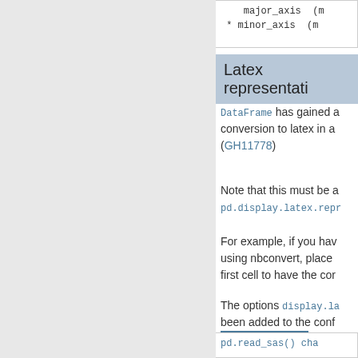* major_axis (m
    * minor_axis (m
Latex representati
DataFrame has gained a conversion to latex in a (GH11778)
Note that this must be a pd.display.latex.repr
For example, if you have using nbconvert, place first cell to have the cor
The options display.la been added to the conf to_latex method. See t
pd.read_sas() cha